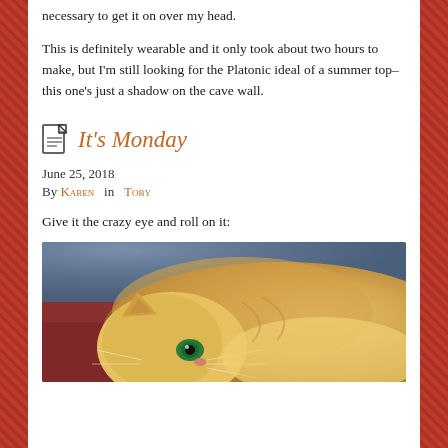necessary to get it on over my head.
This is definitely wearable and it only took about two hours to make, but I'm still looking for the Platonic ideal of a summer top–this one's just a shadow on the cave wall.
It's Monday
June 25, 2018
By Karen  in  Toby
Give it the crazy eye and roll on it:
[Figure (photo): An orange tabby cat lying on its back, looking at the camera with bright green eyes. The cat has fluffy golden-orange fur and visible whiskers. Background shows dark blue fabric.]